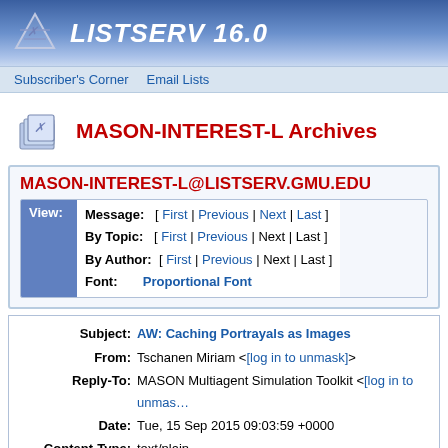LISTSERV 16.0
Subscriber's Corner   Email Lists
MASON-INTEREST-L Archives
MASON-INTEREST-L@LISTSERV.GMU.EDU
| Message: | [ First | Previous | Next | Last ] |
| By Topic: | [ First | Previous | Next | Last ] |
| By Author: | [ First | Previous | Next | Last ] |
| Font: | Proportional Font |
| Subject | From | Reply-To | Date | Content-Type | Parts/Attachments |
| --- | --- | --- | --- | --- | --- |
| AW: Caching Portrayals as Images |  |  |  |  |  |
| Tschanen Miriam <[log in to unmask]> |  |  |  |  |  |
| MASON Multiagent Simulation Toolkit <[log in to unmas… |  |  |  |  |  |
| Tue, 15 Sep 2015 09:03:59 +0000 |  |  |  |  |  |
| text/plain |  |  |  |  |  |
| text/plain (83 lines) |  |  |  |  |  |
Hi Sean,